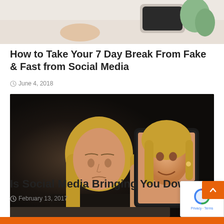[Figure (photo): Partial top of article image — appears to show a desk scene with a phone and plants, cropped at top]
How to Take Your 7 Day Break From Fake & Fast from Social Media
June 4, 2018
[Figure (photo): A woman holding a tablet in front of her face, showing a smiling selfie on the screen while her real expression appears sad/uncertain. Dark background.]
Is Social Media Bringing You Down?
February 13, 2017
[Figure (photo): Partial image of third article, cropped at bottom of page]